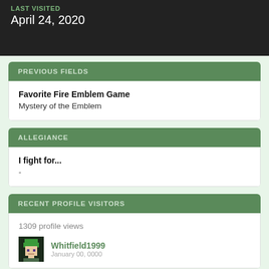LAST VISITED
April 24, 2020
PREVIOUS FIELDS
Favorite Fire Emblem Game
Mystery of the Emblem
ALLEGIANCE
I fight for...
-
RECENT PROFILE VISITORS
1309 profile views
Whitfield1999